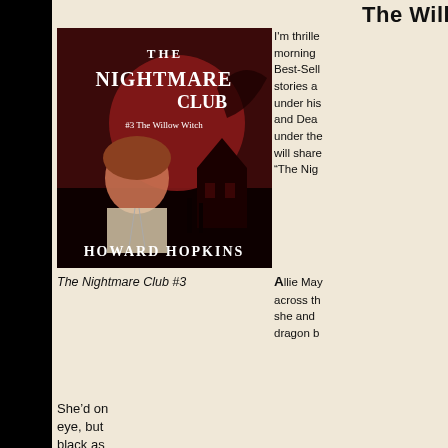The Willow Witch  Teaser!
[Figure (photo): Book cover of The Nightmare Club #3 The Willow Witch by Howard Hopkins. Dark red and black cover showing a boy, large moon, haunted house, and dragon. Gothic lettering for title.]
I'm thrilled morning Best-Sell stories a under his and Dea under the will share “The Nig
The Nightmare Club #3
Allie May across th she and dragon b
She’d on eye, but black as broomstick through the frosty November